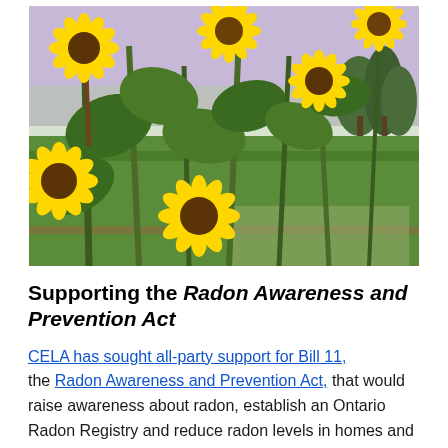[Figure (photo): Photograph of sunflowers with large green leaves in bloom against a field of green grass and a light purple sky with trees in the background]
Supporting the Radon Awareness and Prevention Act
CELA has sought all-party support for Bill 11, the Radon Awareness and Prevention Act, that would raise awareness about radon, establish an Ontario Radon Registry and reduce radon levels in homes and workplaces. Radon is a known carcinogen and unlike